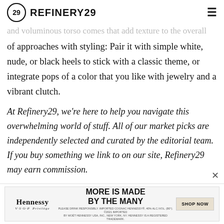REFINERY29
and voluminous torso comes that add texture to the overall of approaches with styling: Pair it with simple white, nude, or black heels to stick with a classic theme, or integrate pops of a color that you like with jewelry and a vibrant clutch.
At Refinery29, we're here to help you navigate this overwhelming world of stuff. All of our market picks are independently selected and curated by the editorial team. If you buy something we link to on our site, Refinery29 may earn commission.
[Figure (other): Hennessy advertisement banner: MORE IS MADE BY THE MANY, SHOP NOW button]